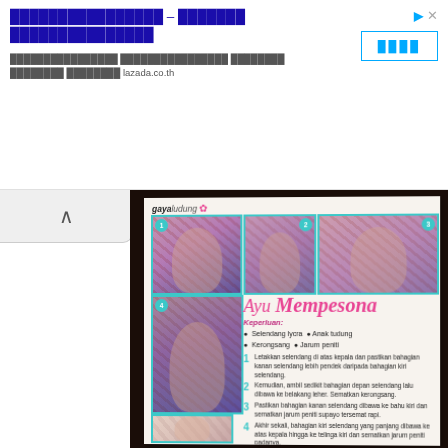[Figure (screenshot): Advertisement banner at top of page with Thai script text, Lazada.co.th URL, and a button with Thai characters. Cyan/blue colored elements.]
[Figure (photo): Photograph of a magazine page showing hijab styling tutorial titled 'gayaludung' and 'Ayu Mempesona' with step-by-step photos of a woman wearing colorful floral hijab in various wrapping styles. Text in Malay language including Keperluan, Selendang lycra, Anak tudung, Kerongsang, Jarum peniti, and numbered steps 1-4.]